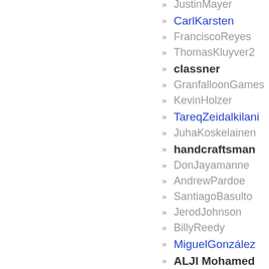JustinMayer
CarlKarsten
FranciscoReyes
ThomasKluyver2
classner
GranfalloonGames
KevinHolzer
TareqZeidalkilani
JuhaKoskelainen
handcraftsman
DonJayamanne
AndrewPardoe
SantiagoBasulto
JerodJohnson
BillyReedy
MiguelGonzález
ALJI Mohamed
ToddLewis
Patley Howell